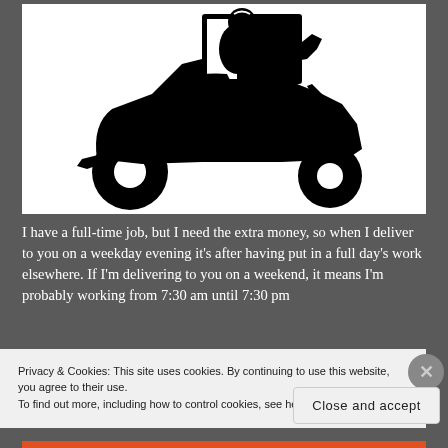[Figure (illustration): Black silhouette of a delivery scooter/moped with rider carrying a large box on the back, on white background]
I have a full-time job, but I need the extra money, so when I deliver to you on a weekday evening it's after having put in a full day's work elsewhere. If I'm delivering to you on a weekend, it means I'm probably working from 7:30 am until 7:30 pm
Privacy & Cookies: This site uses cookies. By continuing to use this website, you agree to their use.
To find out more, including how to control cookies, see here: Cookie Policy
Close and accept